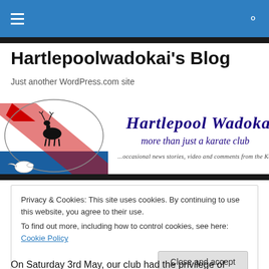Hartlepoolwadokai's Blog
Hartlepoolwadokai's Blog
Just another WordPress.com site
[Figure (illustration): Hartlepool Wadokai karate club banner logo with deer/bird emblem and text 'Hartlepool Wadokai - more than just a karate club - ...occasional news stories, video and comments from the Karate World']
Privacy & Cookies: This site uses cookies. By continuing to use this website, you agree to their use.
To find out more, including how to control cookies, see here: Cookie Policy
[Close and accept]
On Saturday 3rd May, our club had the privilege of hosting